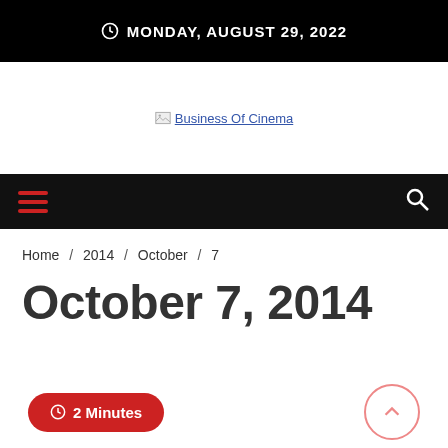MONDAY, AUGUST 29, 2022
[Figure (logo): Business Of Cinema website logo (broken image placeholder with link text)]
Home / 2014 / October / 7
October 7, 2014
2 Minutes